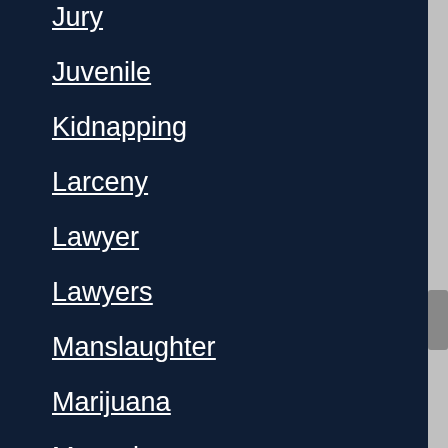Jury
Juvenile
Kidnapping
Larceny
Lawyer
Lawyers
Manslaughter
Marijuana
Menacing
Minor in Possession of Alcohol
Miranda Rights
Municipal Court